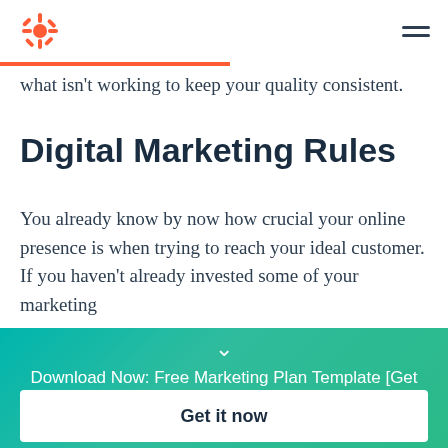HubSpot logo and navigation menu
what isn't working to keep your quality consistent.
Digital Marketing Rules
You already know by now how crucial your online presence is when trying to reach your ideal customer. If you haven't already invested some of your marketing
Download Now: Free Marketing Plan Template [Get Your Copy]
Get it now